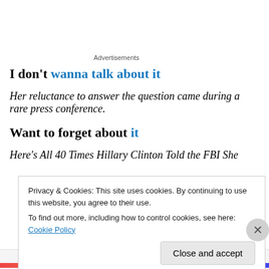Advertisements
I don't wanna talk about it
Her reluctance to answer the question came during a rare press conference.
Want to forget about it
Here's All 40 Times Hillary Clinton Told the FBI She
Privacy & Cookies: This site uses cookies. By continuing to use this website, you agree to their use.
To find out more, including how to control cookies, see here: Cookie Policy
Close and accept
Advertisements